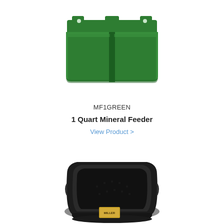[Figure (photo): Green plastic 1 Quart Mineral Feeder with two compartments and mounting tabs, viewed from a slight angle from above.]
MF1GREEN
1 Quart Mineral Feeder
View Product >
[Figure (photo): Black plastic square animal feeding bowl/dish with rounded corners and a gold product label on the front, viewed from a slight angle.]